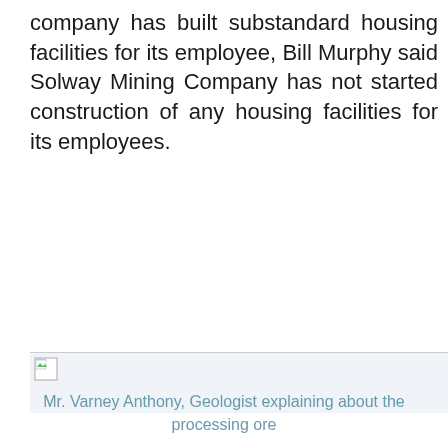company has built substandard housing facilities for its employee, Bill Murphy said Solway Mining Company has not started construction of any housing facilities for its employees.
[Figure (photo): A photo (broken/unloaded image placeholder) showing Mr. Varney Anthony, Geologist explaining about the processing ore]
Mr. Varney Anthony, Geologist explaining about the processing ore